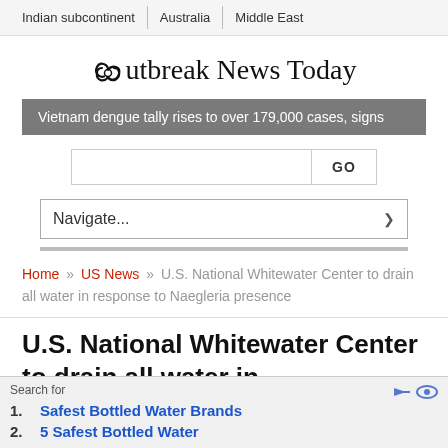Indian subcontinent | Australia | Middle East
Outbreak News Today
Vietnam dengue tally rises to over 179,000 cases, signs
Navigate...
Home » US News » U.S. National Whitewater Center to drain all water in response to Naegleria presence
U.S. National Whitewater Center to drain all water in
Search for
1. Safest Bottled Water Brands
2. 5 Safest Bottled Water